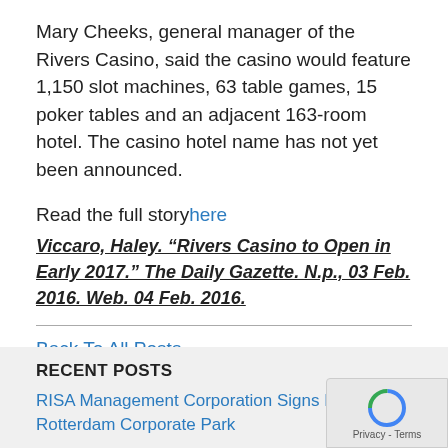Mary Cheeks, general manager of the Rivers Casino, said the casino would feature 1,150 slot machines, 63 table games, 15 poker tables and an adjacent 163-room hotel. The casino hotel name has not yet been announced.
Read the full story here
Viccaro, Haley. “Rivers Casino to Open in Early 2017.” The Daily Gazette. N.p., 03 Feb. 2016. Web. 04 Feb. 2016.
Back To All Posts
RECENT POSTS
RISA Management Corporation Signs Lease at Rotterdam Corporate Park